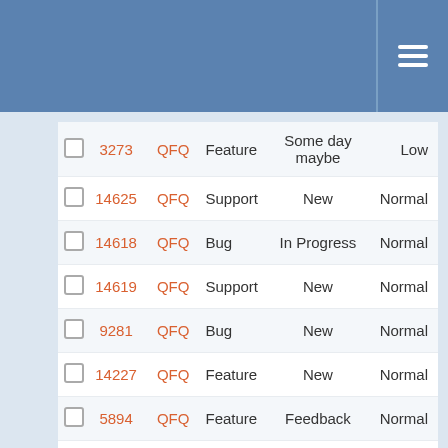|  | ID | Project | Type | Status | Priority |
| --- | --- | --- | --- | --- | --- |
|  | 3273 | QFQ | Feature | Some day maybe | Low |
|  | 14625 | QFQ | Support | New | Normal |
|  | 14618 | QFQ | Bug | In Progress | Normal |
|  | 14619 | QFQ | Support | New | Normal |
|  | 9281 | QFQ | Bug | New | Normal |
|  | 14227 | QFQ | Feature | New | Normal |
|  | 5894 | QFQ | Feature | Feedback | Normal |